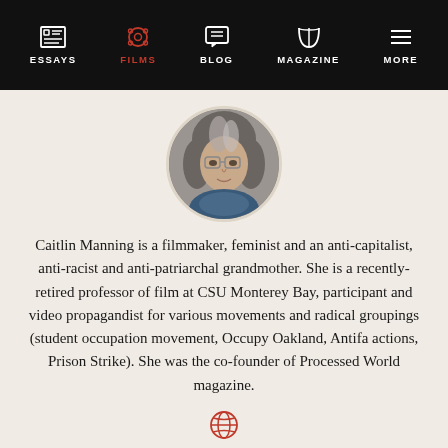ESSAYS  FILMS  BLOG  MAGAZINE  MORE
[Figure (photo): Circular profile photo of Caitlin Manning, a woman with gray hair and glasses wearing a blue scarf]
Caitlin Manning is a filmmaker, feminist and an anti-capitalist, anti-racist and anti-patriarchal grandmother. She is a recently-retired professor of film at CSU Monterey Bay, participant and video propagandist for various movements and radical groupings (student occupation movement, Occupy Oakland, Antifa actions, Prison Strike). She was the co-founder of Processed World magazine.
[Figure (illustration): Globe/website icon in red outline]
MORE >